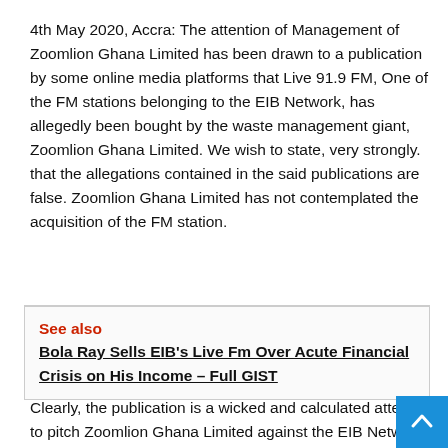4th May 2020, Accra: The attention of Management of Zoomlion Ghana Limited has been drawn to a publication by some online media platforms that Live 91.9 FM, One of the FM stations belonging to the EIB Network, has allegedly been bought by the waste management giant, Zoomlion Ghana Limited. We wish to state, very strongly. that the allegations contained in the said publications are false. Zoomlion Ghana Limited has not contemplated the acquisition of the FM station.
See also  Bola Ray Sells EIB's Live Fm Over Acute Financial Crisis on His Income – Full GIST
Clearly, the publication is a wicked and calculated attempt to pitch Zoomlion Ghana Limited against the EIB Network. As a leading waste management company, Zoomlion Ghana Limited recognises and appreciates the important role of the